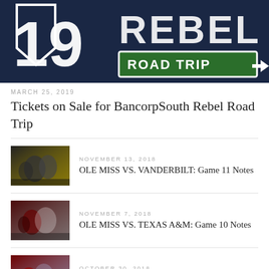[Figure (photo): Hero banner image showing '19 REBELS ROAD TRIP' sign on dark navy background with road sign arrow graphic]
MARCH 25, 2019
Tickets on Sale for BancorpSouth Rebel Road Trip
[Figure (photo): Football game action photo - Ole Miss vs Vanderbilt players in dark uniforms]
NOVEMBER 13, 2018
OLE MISS VS. VANDERBILT: Game 11 Notes
[Figure (photo): Football game action photo - Ole Miss vs Texas A&M players]
NOVEMBER 7, 2018
OLE MISS VS. TEXAS A&M: Game 10 Notes
[Figure (photo): Football game action photo - Ole Miss vs South Carolina players]
OCTOBER 30, 2018
OLE MISS VS. SO. CAROLINA: Game 9 Notes